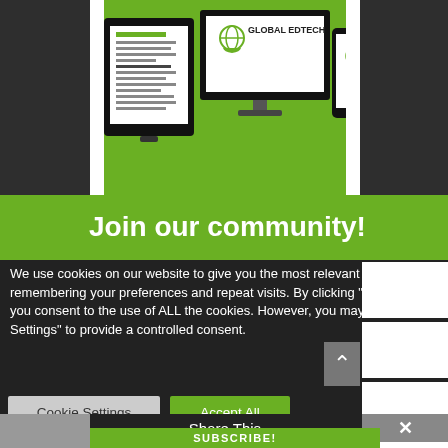[Figure (illustration): Global EdTech branding shown on multiple devices: tablet, desktop monitor, and smartphone, set on a green background]
Join our community!
We use cookies on our website to give you the most relevant experience by remembering your preferences and repeat visits. By clicking “Accept All”, you consent to the use of ALL the cookies. However, you may visit "Cookie Settings" to provide a controlled consent.
Cookie Settings
Accept All
Share This